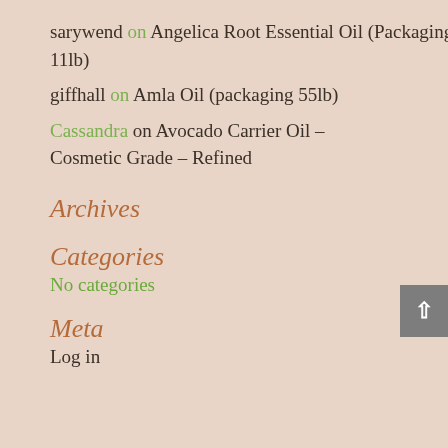sarywend on Angelica Root Essential Oil (Packaging 11lb)
giffhall on Amla Oil (packaging 55lb)
Cassandra on Avocado Carrier Oil – Cosmetic Grade – Refined
Archives
Categories
No categories
Meta
Log in